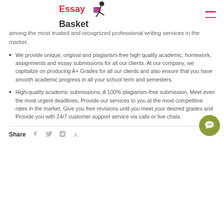Essay Basket [logo]
among the most trusted and recognized professional writing services in the market.
We provide unique, original and plagiarism-free high quality academic, homework, assignments and essay submissions for all our clients. At our company, we capitalize on producing A+ Grades for all our clients and also ensure that you have smooth academic progress in all your school term and semesters.
High-quality academic submissions, A 100% plagiarism-free submission, Meet even the most urgent deadlines, Provide our services to you at the most competitive rates in the market, Give you free revisions until you meet your desired grades and Provide you with 24/7 customer support service via calls or live chats.
Share